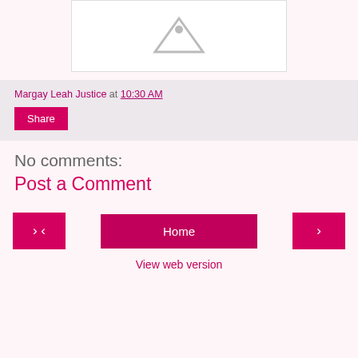[Figure (other): Placeholder image with a grey triangle/mountain icon on white background]
Margay Leah Justice at 10:30 AM
Share
No comments:
Post a Comment
‹
Home
›
View web version